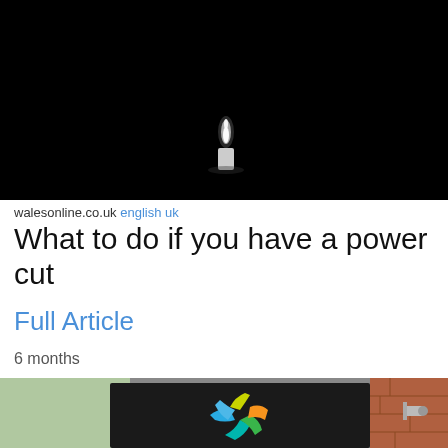[Figure (photo): A single lit candle flame against a completely black background, low-key photography]
walesonline.co.uk english uk
What to do if you have a power cut
Full Article
6 months
[Figure (photo): A storefront sign on a brick building showing a colourful star-shaped logo in blue, green, and yellow, resembling a Job Centre Plus sign]